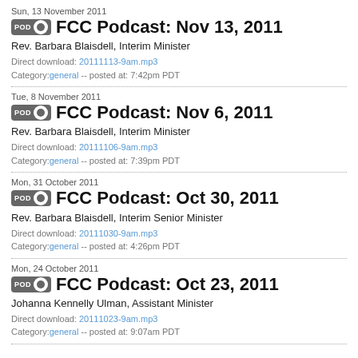Sun, 13 November 2011
FCC Podcast: Nov 13, 2011
Rev. Barbara Blaisdell, Interim Minister
Direct download: 20111113-9am.mp3
Category:general -- posted at: 7:42pm PDT
Tue, 8 November 2011
FCC Podcast: Nov 6, 2011
Rev. Barbara Blaisdell, Interim Minister
Direct download: 20111106-9am.mp3
Category:general -- posted at: 7:39pm PDT
Mon, 31 October 2011
FCC Podcast: Oct 30, 2011
Rev. Barbara Blaisdell, Interim Senior Minister
Direct download: 20111030-9am.mp3
Category:general -- posted at: 4:26pm PDT
Mon, 24 October 2011
FCC Podcast: Oct 23, 2011
Johanna Kennelly Ulman, Assistant Minister
Direct download: 20111023-9am.mp3
Category:general -- posted at: 9:07am PDT